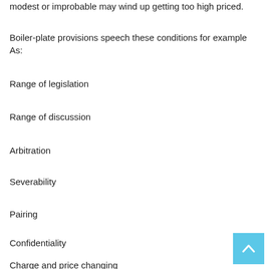modest or improbable may wind up getting too high priced.
Boiler-plate provisions speech these conditions for example As:
Range of legislation
Range of discussion
Arbitration
Severability
Pairing
Confidentiality
Charge and price changing